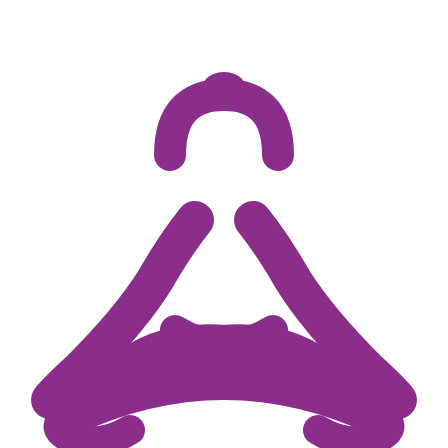[Figure (illustration): Purple icon of a person sitting in a meditation/lotus pose. The figure has a rounded head with a topknot/bun on top, arms curved outward and resting on knees, hands visible on either side, and crossed legs at the bottom forming a wide curved base. The icon is rendered in a solid purple/violet color on a white background.]